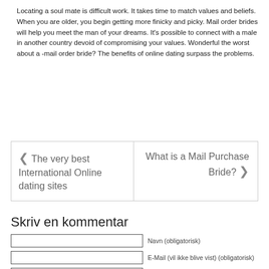Locating a soul mate is difficult work. It takes time to match values and beliefs. When you are older, you begin getting more finicky and picky. Mail order brides will help you meet the man of your dreams. It’s possible to connect with a male in another country devoid of compromising your values. Wonderful the worst about a -mail order bride? The benefits of online dating surpass the problems.
❮ The very best International Online dating sites
What is a Mail Purchase Bride? ❯
Skriv en kommentar
Navn (obligatorisk)
E-Mail (vil ikke blive vist) (obligatorisk)
Website